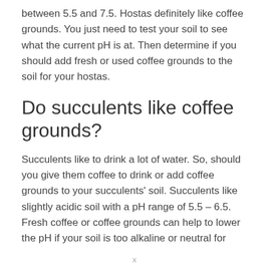between 5.5 and 7.5. Hostas definitely like coffee grounds. You just need to test your soil to see what the current pH is at. Then determine if you should add fresh or used coffee grounds to the soil for your hostas.
Do succulents like coffee grounds?
Succulents like to drink a lot of water. So, should you give them coffee to drink or add coffee grounds to your succulents' soil. Succulents like slightly acidic soil with a pH range of 5.5 – 6.5. Fresh coffee or coffee grounds can help to lower the pH if your soil is too alkaline or neutral for
x